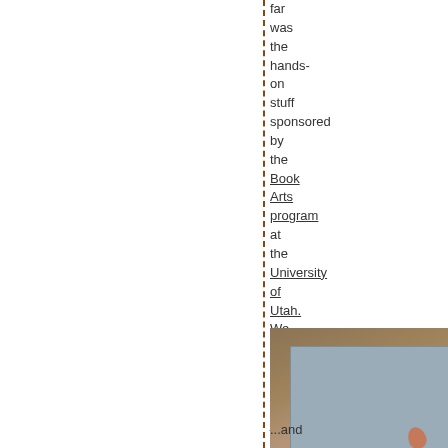far was the hands-on stuff sponsored by the Book Arts program at the University of Utah. We made paper out of jeans:
[Figure (photo): A rectangular sheet of handmade paper (blue-grey denim color) lying flat on a wooden table surface, with a small reddish-brown mark on it.]
...and